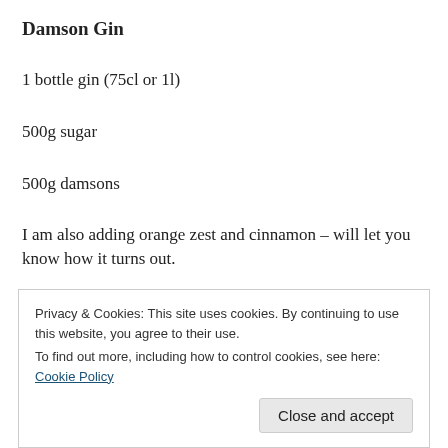Damson Gin
1 bottle gin (75cl or 1l)
500g sugar
500g damsons
I am also adding orange zest and cinnamon – will let you know how it turns out.
Privacy & Cookies: This site uses cookies. By continuing to use this website, you agree to their use.
To find out more, including how to control cookies, see here: Cookie Policy
Close and accept